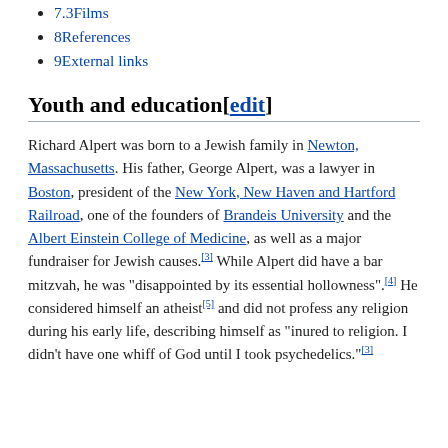7.3Films
8References
9External links
Youth and education[edit]
Richard Alpert was born to a Jewish family in Newton, Massachusetts. His father, George Alpert, was a lawyer in Boston, president of the New York, New Haven and Hartford Railroad, one of the founders of Brandeis University and the Albert Einstein College of Medicine, as well as a major fundraiser for Jewish causes.[3] While Alpert did have a bar mitzvah, he was "disappointed by its essential hollowness".[4] He considered himself an atheist[5] and did not profess any religion during his early life, describing himself as "inured to religion. I didn't have one whiff of God until I took psychedelics."[3]